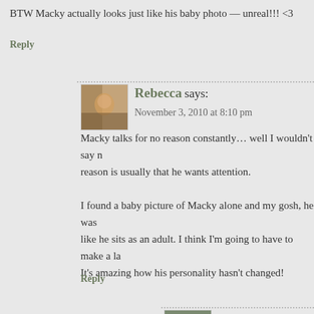BTW Macky actually looks just like his baby photo — unreal!!! <3
Reply
[Figure (photo): Small square avatar photo of Rebecca, outdoor autumn scene]
Rebecca says:
November 3, 2010 at 8:10 pm
Macky talks for no reason constantly… well I wouldn't say reason is usually that he wants attention.

I found a baby picture of Macky alone and my gosh, he was like he sits as an adult. I think I'm going to have to make a la It's amazing how his personality hasn't changed!
Reply
[Figure (photo): Small square avatar photo of Jenn L, woman with dark hair outdoors]
Jenn L @ Peas & Crayons says:
November 30, 2010 at 11:21 pm
I forgot to tell you! I showed paul the post and he melt he spent like 2 hours in the kitty adoption center in pe and re-naming the kitties and deciding which one he adopt. haha